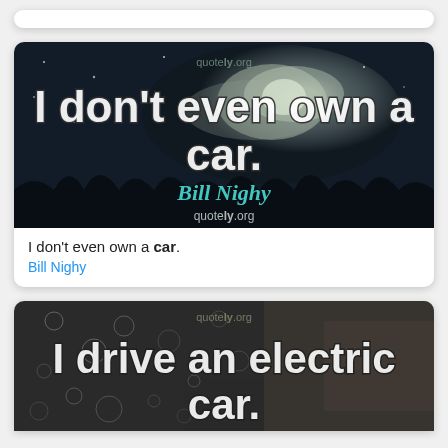[Figure (illustration): Top stub of a quote card, partially visible at top of page]
[Figure (illustration): Quote card image with dark night sky and moonlit clouds background. Large white outlined text reads 'I don't even own a car.' with 'Bill Nighy' in teal italic below. quotely.org watermark at top and bottom.]
I don't even own a car.
Bill Nighy
[Figure (illustration): Partial quote card image with rain-droplet covered window background, dark moody tone. Large white outlined text reads 'I drive an electric car.' quotely.org watermark visible at top.]